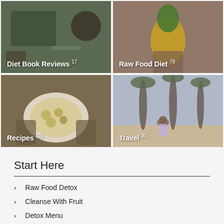[Figure (photo): Overhead view of a person reading with a bowl of food and coffee mug — Diet Book Reviews category thumbnail]
[Figure (photo): Person holding a pineapple in front of their torso — Raw Food Diet category thumbnail]
[Figure (photo): Hands holding a bowl of gnocchi or potato dish — Recipes category thumbnail]
[Figure (photo): Woman sitting on a beach looking at palm trees — Travel category thumbnail]
Start Here
Raw Food Detox
Cleanse With Fruit
Detox Menu